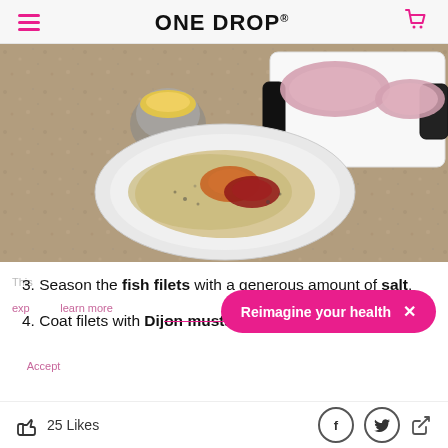ONE DROP
[Figure (photo): A white plate on a granite countertop holding breadcrumbs mixed with spices (paprika/chili powder). In the background is a small container of mustard and raw fish filets on a white cutting board.]
3. Season the fish filets with a generous amount of salt.
4. Coat filets with Dijon mustard.
Reimagine your health  ×
25 Likes